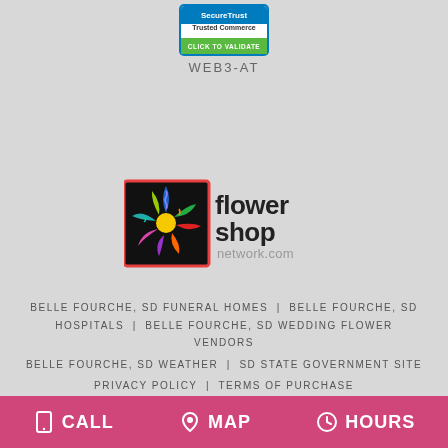[Figure (logo): SecureTrust Trusted Commerce - Click to Validate badge]
WEB3-AT
[Figure (logo): Flower Shop Network.com logo with colorful flower graphic]
BELLE FOURCHE, SD FUNERAL HOMES | BELLE FOURCHE, SD HOSPITALS | BELLE FOURCHE, SD WEDDING FLOWER VENDORS
BELLE FOURCHE, SD WEATHER | SD STATE GOVERNMENT SITE
PRIVACY POLICY | TERMS OF PURCHASE
CALL   MAP   HOURS